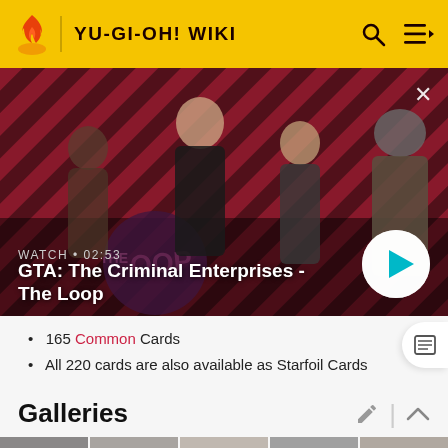YU-GI-OH! WIKI
[Figure (screenshot): Video banner for GTA: The Criminal Enterprises - The Loop. Shows characters on a red diagonal stripe background with play button. WATCH • 02:53]
165 Common Cards
All 220 cards are also available as Starfoil Cards
Galleries
[Figure (photo): Row of card thumbnail images at bottom of page]